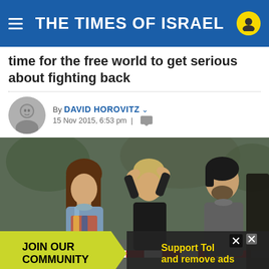THE TIMES OF ISRAEL
time for the free world to get serious about fighting back
By DAVID HOROVITZ  15 Nov 2015, 6:53 pm
[Figure (photo): People standing behind police tape at what appears to be a crime or incident scene. A woman with long brown hair in a denim jacket stands next to a distressed woman in a black top with hands on her head. A man with dark hair and a grey jacket stands in the background right.]
JOIN OUR COMMUNITY  Support ToI and remove ads